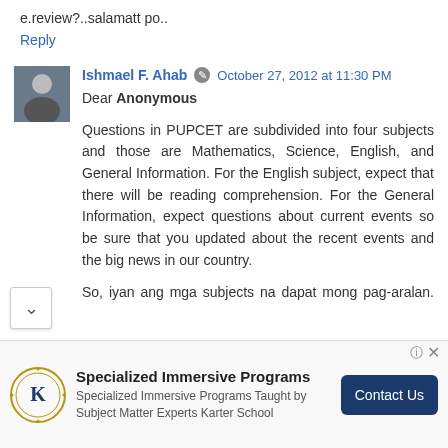e.review?..salamatt po..
Reply
Ishmael F. Ahab   October 27, 2012 at 11:30 PM
Dear Anonymous

Questions in PUPCET are subdivided into four subjects and those are Mathematics, Science, English, and General Information. For the English subject, expect that there will be reading comprehension. For the General Information, expect questions about current events so be sure that you updated about the recent events and the big news in our country.

So, iyan ang mga subjects na dapat mong pag-aralan. Tungkol naman sa kung anong questions ang lalabas ay
[Figure (infographic): Advertisement banner for Specialized Immersive Programs by Karter School with logo, text, and Contact Us button]